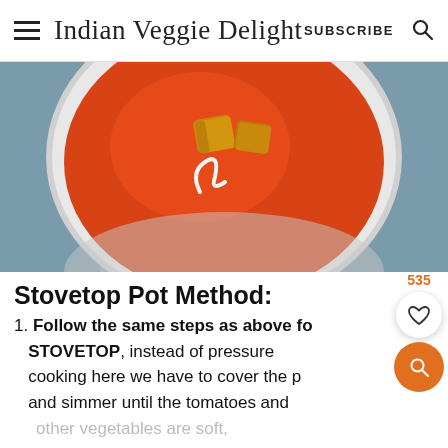Indian Veggie Delight  SUBSCRIBE
[Figure (photo): Top-down view of a bowl of tomato soup garnished with croutons and a swirl of cream, on a blue-grey surface]
Stovetop Pot Method:
1. Follow the same steps as above for STOVETOP, instead of pressure cooking here we have to cover the pot and simmer until the tomatoes and
other vegetables are soft, about 20 minutes and blend